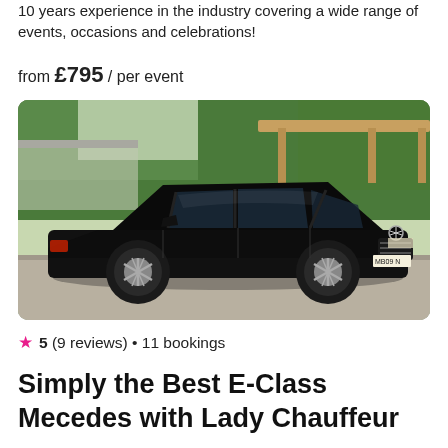10 years experience in the industry covering a wide range of events, occasions and celebrations!
from £795 / per event
[Figure (photo): Black Mercedes E-Class sedan parked on a road in front of trees and a wooden canopy structure. UK license plate partially visible (MB09...).]
5 (9 reviews) • 11 bookings
Simply the Best E-Class Mecedes with Lady Chauffeur